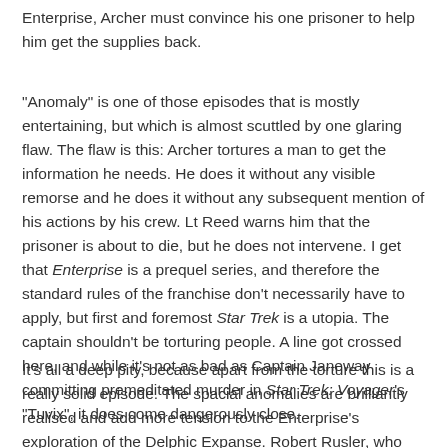Enterprise, Archer must convince his one prisoner to help him get the supplies back.
"Anomaly" is one of those episodes that is mostly entertaining, but which is almost scuttled by one glaring flaw. The flaw is this: Archer tortures a man to get the information he needs. He does it without any visible remorse and he does it without any subsequent mention of his actions by his crew. Lt Reed warns him that the prisoner is about to die, but he does not intervene. I get that Enterprise is a prequel series, and therefore the standard rules of the franchise don't necessarily have to apply, but first and foremost Star Trek is a utopia. The captain shouldn't be torturing people. A line got crossed here, and while it's not as bad as Captain Janeway committing premeditated murder in Star Trek: Voyager's "Tuvix", it does come dangerously close.
It's all a deep pity, because apart from the torture this is a really solid episode. The spacial anomalies are brilliantly realised and add more tension to the Enterprise's exploration of the Delphic Expanse. Robert Rusler, who played the late but not-so-lamented Lieutenant Keffer in Babylon 5, makes a